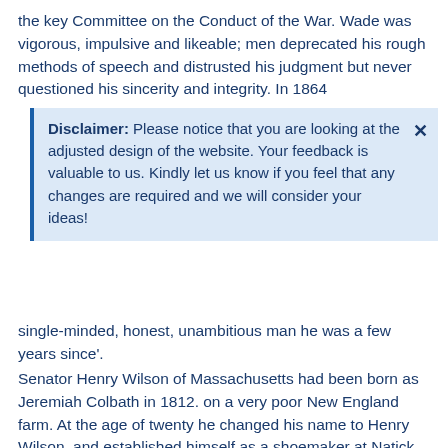the key Committee on the Conduct of the War. Wade was vigorous, impulsive and likeable; men deprecated his rough methods of speech and distrusted his judgment but never questioned his sincerity and integrity. In 1864
Disclaimer: Please notice that you are looking at the adjusted design of the website. Your feedback is valuable to us. Kindly let us know if you feel that any changes are required and we will consider your ideas!
single-minded, honest, unambitious man he was a few years since'.
Senator Henry Wilson of Massachusetts had been born as Jeremiah Colbath in 1812. on a very poor New England farm. At the age of twenty he changed his name to Henry Wilson, and established himself as a shoemaker at Natick in Massachusetts; here he built up a considerable business and the 'cobbler of Natick' was actually a successful employer of some hundred men. His happy relations with his work-people foreshadowed the future career of one who was to prove himself the canniest vote-getter in all New England and to rise to the highest